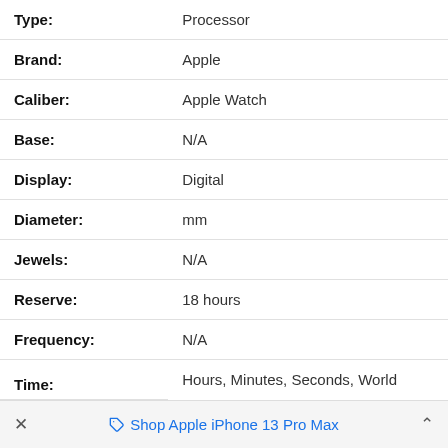| Attribute | Value |
| --- | --- |
| Type: | Processor |
| Brand: | Apple |
| Caliber: | Apple Watch |
| Base: | N/A |
| Display: | Digital |
| Diameter: | mm |
| Jewels: | N/A |
| Reserve: | 18 hours |
| Frequency: | N/A |
| Time: | Hours, Minutes, Seconds, World |
× Shop Apple iPhone 13 Pro Max ^